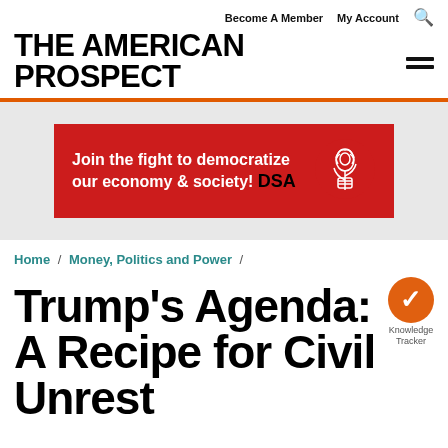Become A Member  My Account  [search icon]
THE AMERICAN PROSPECT
[Figure (infographic): DSA advertisement banner: 'Join the fight to democratize our economy & society! DSA' on red background with rose logo]
Home / Money, Politics and Power /
Trump's Agenda: A Recipe for Civil Unrest